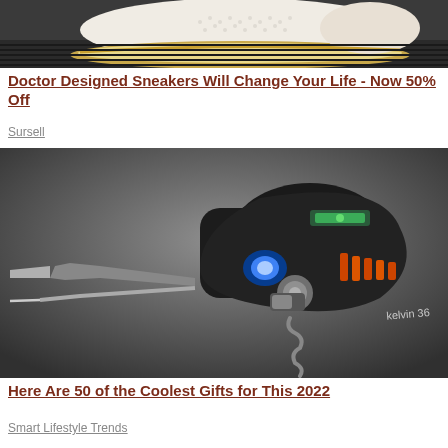[Figure (photo): Close-up of a white doctor-designed sneaker with decorative dotted pattern and brown/gold trim, shown against a dark background]
Doctor Designed Sneakers Will Change Your Life - Now 50% Off
Sursell
[Figure (photo): Black multi-tool device labeled 'kelvin 36' with screwdriver bits, LED light, corkscrew, and other tools, shown against a gray gradient background]
Here Are 50 of the Coolest Gifts for This 2022
Smart Lifestyle Trends